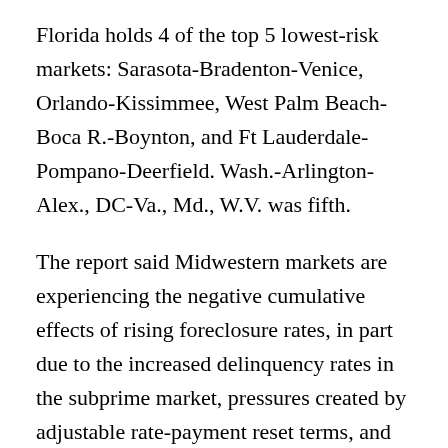Florida holds 4 of the top 5 lowest-risk markets: Sarasota-Bradenton-Venice, Orlando-Kissimmee, West Palm Beach-Boca R.-Boynton, and Ft Lauderdale-Pompano-Deerfield. Wash.-Arlington-Alex., DC-Va., Md., W.V. was fifth.
The report said Midwestern markets are experiencing the negative cumulative effects of rising foreclosure rates, in part due to the increased delinquency rates in the subprime market, pressures created by adjustable rate-payment reset terms, and fundamental economic factors.
“These effects are placing upward pressure on the Fraud and Collateral Risk Index,” the report said. “This upward pressure is expected to continue throughout